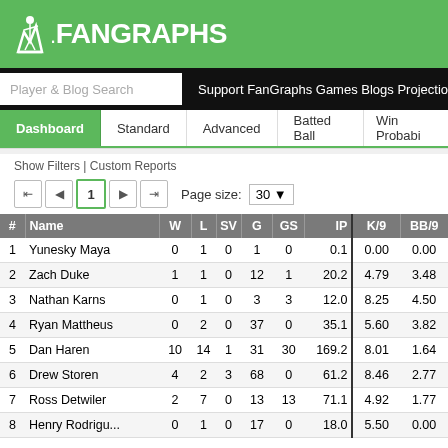FanGraphs
Player & Blog Search | Support FanGraphs Games Blogs Projections
Dashboard | Standard | Advanced | Batted Ball | Win Probability
Show Filters | Custom Reports
Page 1, Page size: 30
| # | Name | W | L | SV | G | GS | IP | K/9 | BB/9 |
| --- | --- | --- | --- | --- | --- | --- | --- | --- | --- |
| 1 | Yunesky Maya | 0 | 1 | 0 | 1 | 0 | 0.1 | 0.00 | 0.00 |
| 2 | Zach Duke | 1 | 1 | 0 | 12 | 1 | 20.2 | 4.79 | 3.48 |
| 3 | Nathan Karns | 0 | 1 | 0 | 3 | 3 | 12.0 | 8.25 | 4.50 |
| 4 | Ryan Mattheus | 0 | 2 | 0 | 37 | 0 | 35.1 | 5.60 | 3.82 |
| 5 | Dan Haren | 10 | 14 | 1 | 31 | 30 | 169.2 | 8.01 | 1.64 |
| 6 | Drew Storen | 4 | 2 | 3 | 68 | 0 | 61.2 | 8.46 | 2.77 |
| 7 | Ross Detwiler | 2 | 7 | 0 | 13 | 13 | 71.1 | 4.92 | 1.77 |
| 8 | Henry Rodriguez | 0 | 1 | 0 | 17 | 0 | 18.0 | 5.50 | 0.00 |